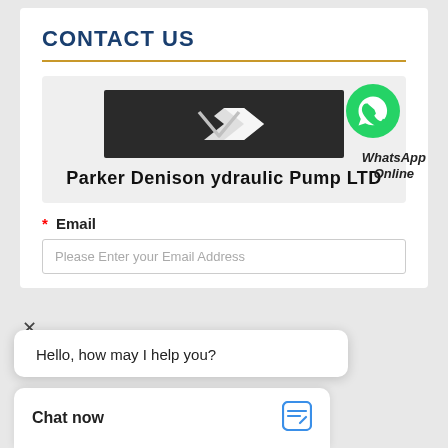CONTACT US
[Figure (logo): Dark rectangular logo banner with a white geometric arrow/chevron symbol in the center. Company logo for Parker Denison Hydraulic Pump LTD.]
Parker Denison ydraulic Pump LTD
[Figure (logo): WhatsApp green circle icon with white phone handset. Label: WhatsApp Online]
WhatsApp Online
* Email
Please Enter your Email Address
×
Hello, how may I help you?
np LTD
Chat now